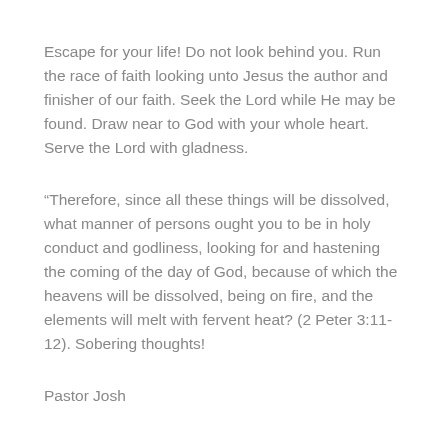Escape for your life! Do not look behind you. Run the race of faith looking unto Jesus the author and finisher of our faith. Seek the Lord while He may be found. Draw near to God with your whole heart. Serve the Lord with gladness.
“Therefore, since all these things will be dissolved, what manner of persons ought you to be in holy conduct and godliness, looking for and hastening the coming of the day of God, because of which the heavens will be dissolved, being on fire, and the elements will melt with fervent heat? (2 Peter 3:11-12). Sobering thoughts!
Pastor Josh